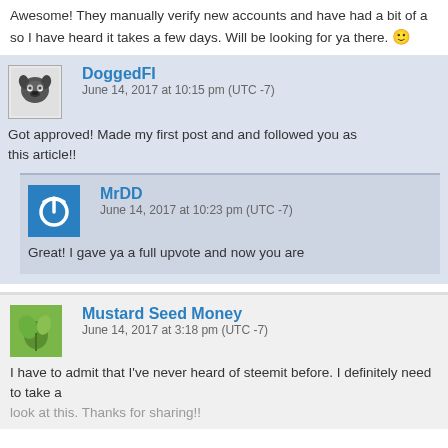Awesome! They manually verify new accounts and have had a bit of a backlog so I have heard it takes a few days. Will be looking for ya there. 🙂
DoggedFI
June 14, 2017 at 10:15 pm (UTC -7)
Got approved! Made my first post and and followed you as well. Thanks for this article!!
MrDD
June 14, 2017 at 10:23 pm (UTC -7)
Great! I gave ya a full upvote and now you are
Mustard Seed Money
June 14, 2017 at 3:18 pm (UTC -7)
I have to admit that I've never heard of steemit before. I definitely need to take a look at this. Thanks for sharing!!